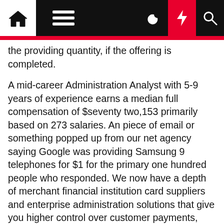Navigation bar with home, menu, dark mode, flash, and search icons
the providing quantity, if the offering is completed.
A mid-career Administration Analyst with 5-9 years of experience earns a median full compensation of $seventy two,153 primarily based on 273 salaries. An piece of email or something popped up from our net agency saying Google was providing Samsung 9 telephones for $1 for the primary one hundred people who responded. We now have a depth of merchant financial institution card suppliers and enterprise administration solutions that give you higher control over customer payments, employee schedules, every day operations and opportunities to increase gross sales and income.
Analytical experience: Administration analysts ought to have the ability to interpret quite a lot of information and use their findings to make